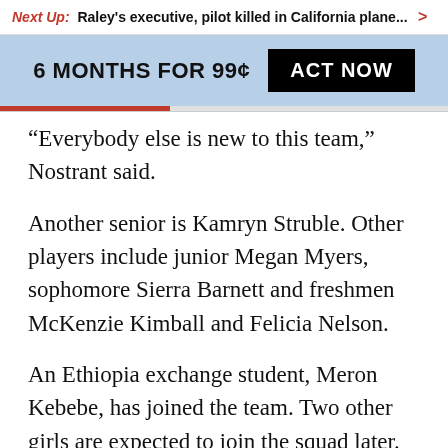Next Up: Raley's executive, pilot killed in California plane... >
6 MONTHS FOR 99¢  ACT NOW
“Everybody else is new to this team,” Nostrant said.
Another senior is Kamryn Struble. Other players include junior Megan Myers, sophomore Sierra Barnett and freshmen McKenzie Kimball and Felicia Nelson.
An Ethiopia exchange student, Meron Kebebe, has joined the team. Two other girls are expected to join the squad later.